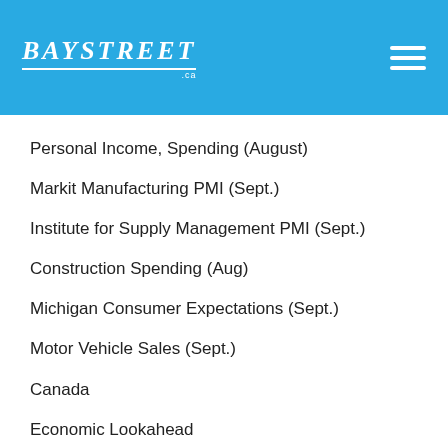BAYSTREET .ca
Personal Income, Spending (August)
Markit Manufacturing PMI (Sept.)
Institute for Supply Management PMI (Sept.)
Construction Spending (Aug)
Michigan Consumer Expectations (Sept.)
Motor Vehicle Sales (Sept.)
Canada
Economic Lookahead
GDP (July) Real gross domestic product rose 0.7% in June,